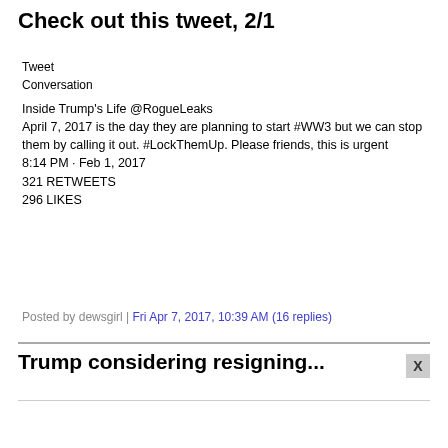Check out this tweet, 2/1
Tweet
Conversation
Inside Trump's Life @RogueLeaks
April 7, 2017 is the day they are planning to start #WW3 but we can stop them by calling it out. #LockThemUp. Please friends, this is urgent
8:14 PM · Feb 1, 2017
321 RETWEETS
296 LIKES
Posted by dewsgirl | Fri Apr 7, 2017, 10:39 AM (16 replies)
Trump considering resigning...